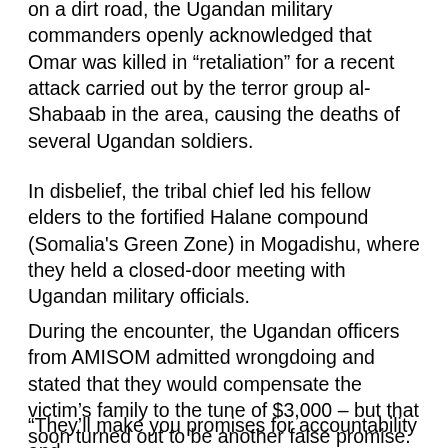on a dirt road, the Ugandan military commanders openly acknowledged that Omar was killed in “retaliation” for a recent attack carried out by the terror group al-Shabaab in the area, causing the deaths of several Ugandan soldiers.
In disbelief, the tribal chief led his fellow elders to the fortified Halane compound (Somalia's Green Zone) in Mogadishu, where they held a closed-door meeting with Ugandan military officials.
During the encounter, the Ugandan officers from AMISOM admitted wrongdoing and stated that they would compensate the victim’s family to the tune of $3,000 – but that soon turned out to be another false promise.
“They’ll make you promises for accountability and